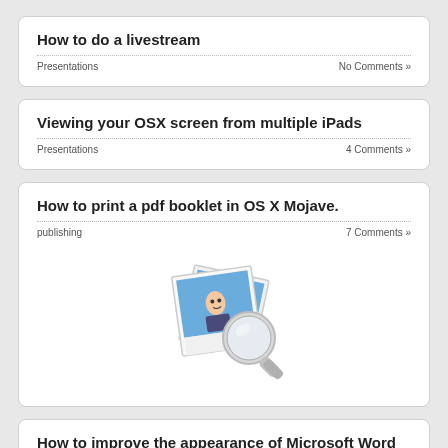How to do a livestream
Presentations    No Comments »
Viewing your OSX screen from multiple iPads
Presentations    4 Comments »
How to print a pdf booklet in OS X Mojave.
publishing    7 Comments »
[Figure (screenshot): macOS Preview application icon showing polaroid-style photos with a magnifying glass]
How to improve the appearance of Microsoft Word 2016 on OS X